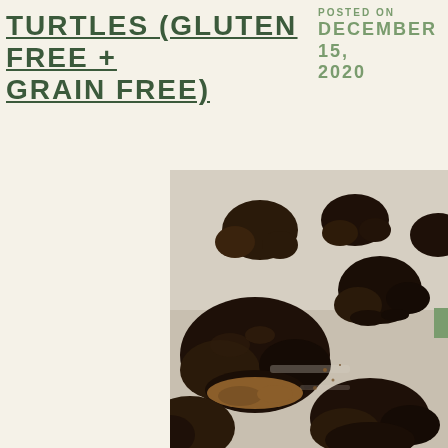TURTLES (GLUTEN FREE + GRAIN FREE)
POSTED ON DECEMBER 15, 2020
[Figure (photo): Close-up photo of chocolate-covered turtle candies made with pecans and caramel, arranged on a baking sheet. The chocolates are dark and glossy, with visible pecan pieces underneath.]